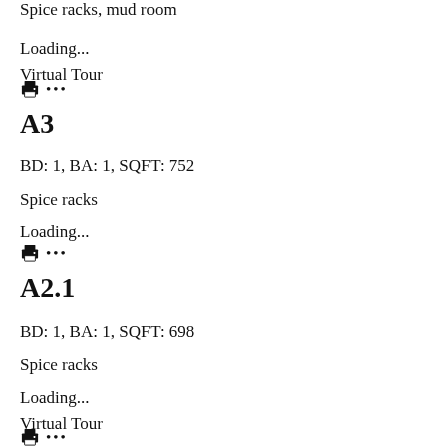Spice racks, mud room
Loading...
Virtual Tour
🖨 ...
A3
BD: 1, BA: 1, SQFT: 752
Spice racks
Loading...
🖨 ...
A2.1
BD: 1, BA: 1, SQFT: 698
Spice racks
Loading...
Virtual Tour
🖨 ...